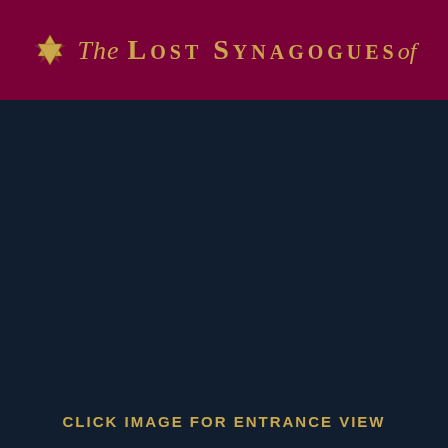The Lost Synagogues of
[Figure (photo): Dark navy blue image area, mostly empty/dark, representing a synagogue entrance view placeholder]
CLICK IMAGE FOR ENTRANCE VIEW